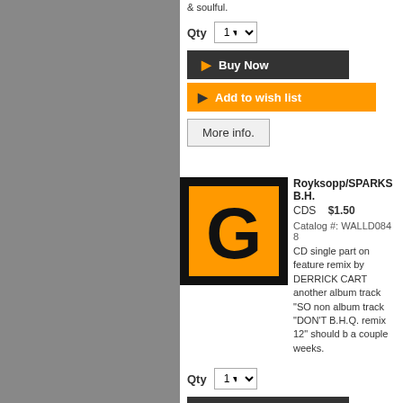& soulful.
Qty
Buy Now
Add to wish list
More info.
[Figure (logo): Black background square with orange square containing a bold black letter G logo]
Royksopp/SPARKS B.H. CDS $1.50
Catalog #: WALLD084 8 CD single part on feature remix by DERRICK CART another album track "SO non album track "DON'T B.H.Q. remix 12" should b a couple weeks.
Qty
Buy Now
Add to wish list